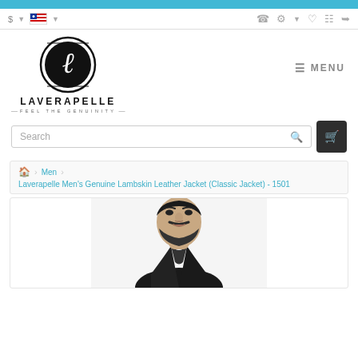Navigation bar with currency ($), language (flag), phone, account, wishlist, cart, share icons
[Figure (logo): Laverapelle logo: circular emblem with cursive L, brand name LAVERAPELLE, tagline FEEL THE GENUINITY]
≡ MENU
Search
Laverapelle Men's Genuine Lambskin Leather Jacket (Classic Jacket) - 1501
[Figure (photo): Man wearing a black leather jacket, shown from shoulders up, with a beard, white background]